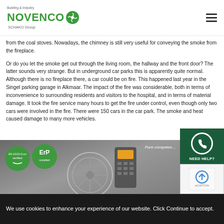Building & Industry NOVENCO SCHAKO Group
from the coal stoves. Nowadays, the chimney is still very useful for conveying the smoke from the fireplace.
Or do you let the smoke get out through the living room, the hallway and the front door? The latter sounds very strange. But in underground car parks this is apparently quite normal. Although there is no fireplace there, a car could be on fire. This happened last year in the Singel parking garage in Alkmaar. The impact of the fire was considerable, both in terms of inconvenience to surrounding residents and visitors to the hospital, and in terms of material damage. It took the fire service many hours to get the fire under control, even though only two cars were involved in the fire. There were 150 cars in the car park. The smoke and heat caused damage to many more vehicles.
[Figure (photo): Novenco product banner showing fan/ventilation equipment with ErP and ISO certifications, tagline 'Pure competence']
[Figure (other): NEED HELP? button with phone icon on dark green background]
[Figure (other): reCAPTCHA verification widget]
We use cookies to enhance your experience of our website. Click Continue to accept.